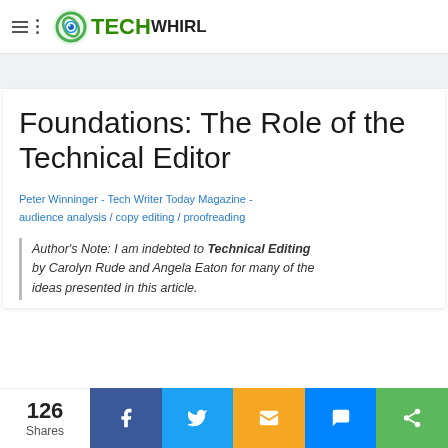TechWhirl
Foundations: The Role of the Technical Editor
Peter Winninger - Tech Writer Today Magazine - audience analysis / copy editing / proofreading
Author's Note: I am indebted to Technical Editing by Carolyn Rude and Angela Eaton for many of the ideas presented in this article.
126 Shares